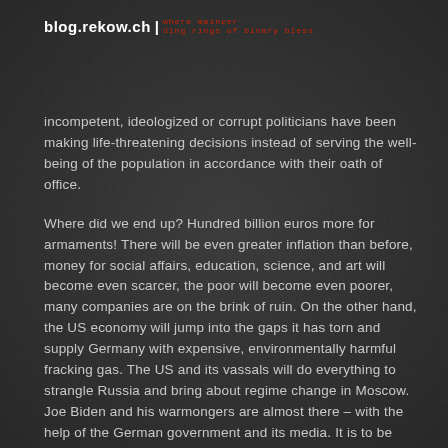blog.rekow.ch | where mainzer ding rings of binary bless
incompetent, ideologized or corrupt politicians have been making life-threatening decisions instead of serving the well-being of the population in accordance with their oath of office.
Where did we end up? Hundred billion euros more for armaments! There will be even greater inflation than before, money for social affairs, education, science, and art will become even scarcer, the poor will become even poorer, many companies are on the brink of ruin. On the other hand, the US economy will jump into the gaps it has torn and supply Germany with expensive, environmentally harmful fracking gas. The US and its vassals will do everything to strangle Russia and bring about regime change in Moscow. Joe Biden and his warmongers are almost there – with the help of the German government and its media. It is to be hoped that the world will be spared a nuclear war.